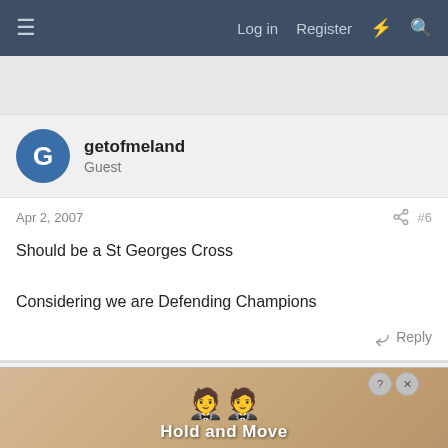≡   Log in   Register   ⚡   🔍
getofmeland
Guest
Apr 2, 2007   #6
Should be a St Georges Cross

Considering we are Defending Champions
↩ Reply
Bullitt
[Figure (screenshot): Mobile ad banner for 'Hold and Move' app showing cartoon figures and close button]